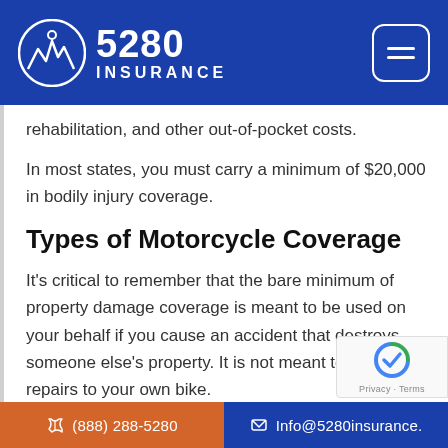[Figure (logo): 5280 Insurance logo with mountain/city icon in white circle on blue header background]
rehabilitation, and other out-of-pocket costs.
In most states, you must carry a minimum of $20,000 in bodily injury coverage.
Types of Motorcycle Coverage
It’s critical to remember that the bare minimum of property damage coverage is meant to be used on your behalf if you cause an accident that destroys someone else’s property. It is not meant to cover repairs to your own bike.
(888) 288-5280   Info@5280insurance.
[Figure (logo): reCAPTCHA badge in bottom right corner]